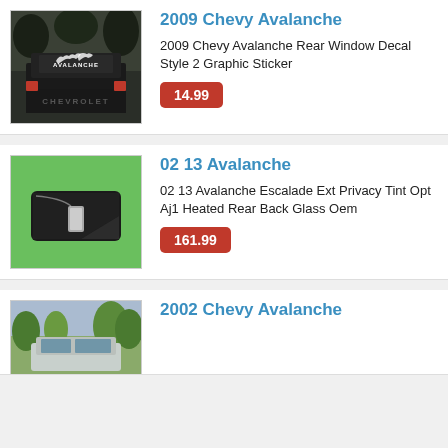[Figure (photo): Photo of a black Chevy truck rear view with Avalanche decal on rear window, outdoors]
2009 Chevy Avalanche
2009 Chevy Avalanche Rear Window Decal Style 2 Graphic Sticker
14.99
[Figure (photo): Photo of a black rear window glass panel with chrome trim, on green background]
02 13 Avalanche
02 13 Avalanche Escalade Ext Privacy Tint Opt Aj1 Heated Rear Back Glass Oem
161.99
[Figure (photo): Photo of a Chevy Avalanche truck outdoors with trees in background]
2002 Chevy Avalanche